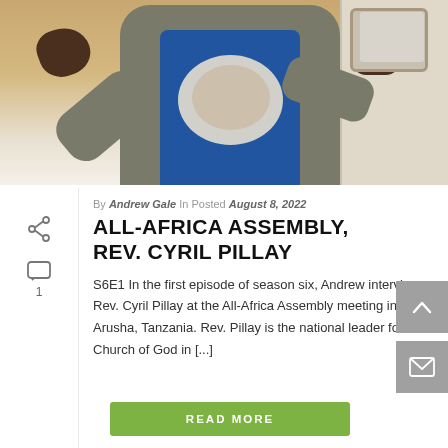[Figure (photo): Person wearing a grey jacket over a blue shirt with a face print, holding a tablet with one hand and gesturing with the other, standing against a beige/white background.]
By Andrew Gale In Posted August 8, 2022
ALL-AFRICA ASSEMBLY, REV. CYRIL PILLAY
S6E1 In the first episode of season six, Andrew interviews Rev. Cyril Pillay at the All-Africa Assembly meeting in Arusha, Tanzania. Rev. Pillay is the national leader for the Church of God in [...]